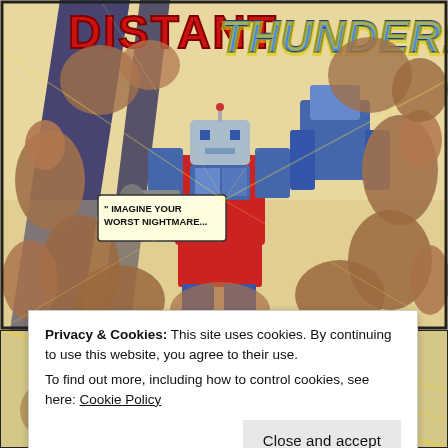[Figure (illustration): Comic book cover or splash page titled 'DISTANT THUNDER!' in large red and blue lettering. Features Transformers robots (including Optimus Prime in red and blue) battling many humanoid creatures. Speech bubbles read: 'IMAGINE YOUR WORST NIGHTMARE...' and '...AND THEN SOME!' The art is classic 1980s comic style with dynamic action poses.]
Privacy & Cookies: This site uses cookies. By continuing to use this website, you agree to their use.
To find out more, including how to control cookies, see here: Cookie Policy
Close and accept
[Figure (illustration): Bottom strip of a comic page showing partial panel with yellow and action lines, partial figures visible.]